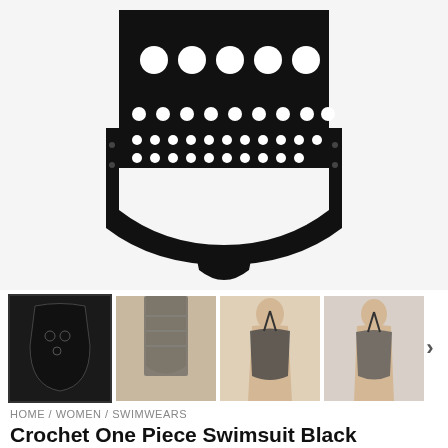[Figure (photo): Close-up product photo of a black crochet one piece swimsuit showing the front torso area with intricate crochet/eyelet pattern and high-waisted bottoms]
[Figure (photo): Thumbnail gallery row showing 4 views of the black crochet swimsuit: (1) full body front on model (selected), (2) torso close-up front with tan/nude tones, (3) model wearing swimsuit front view with halter neck, (4) model back view showing backless design]
HOME / WOMEN / SWIMWEARS
Crochet One Piece Swimsuit Black Backless Siamese Swimsuit